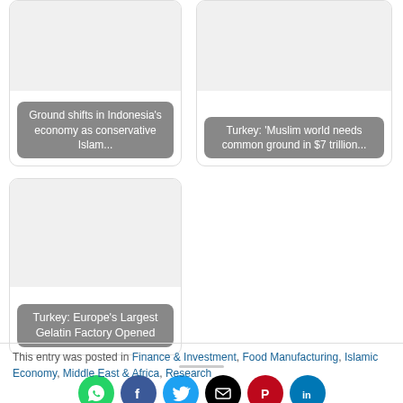[Figure (photo): Card with image and caption: Ground shifts in Indonesia's economy as conservative Islam...]
[Figure (photo): Card with image and caption: Turkey: 'Muslim world needs common ground in $7 trillion...']
[Figure (photo): Card with image and caption: Turkey: Europe's Largest Gelatin Factory Opened]
[Figure (infographic): Social sharing icons: WhatsApp, Facebook, Twitter, Email, Pinterest, LinkedIn]
This entry was posted in Finance & Investment, Food Manufacturing, Islamic Economy, Middle East & Africa, Research